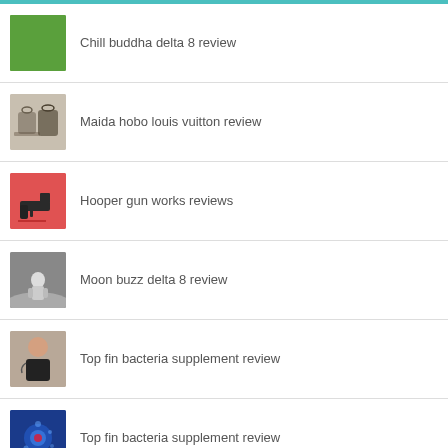Chill buddha delta 8 review
Maida hobo louis vuitton review
Hooper gun works reviews
Moon buzz delta 8 review
Top fin bacteria supplement review
Top fin bacteria supplement review